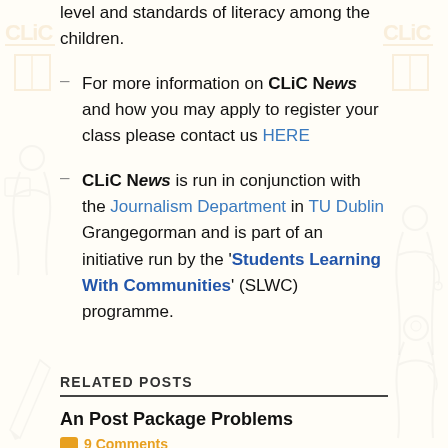level and standards of literacy among the children.
For more information on CLiC News and how you may apply to register your class please contact us HERE
CLiC News is run in conjunction with the Journalism Department in TU Dublin Grangegorman and is part of an initiative run by the 'Students Learning With Communities' (SLWC) programme.
RELATED POSTS
An Post Package Problems
9 Comments
12,000 WWII Nazi Swiss Bank Accounts Allegedly Found In Argentina